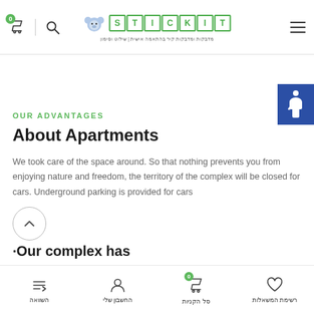STICKIT - מדבקות קיר בהתאמה אישית | שילוט וסימון
OUR ADVANTAGES
About Apartments
We took care of the space around. So that nothing prevents you from enjoying nature and freedom, the territory of the complex will be closed for cars. Underground parking is provided for cars
·Our complex has
השוואה | החשבון שלי | סל הקניות | רשימת המשאלות